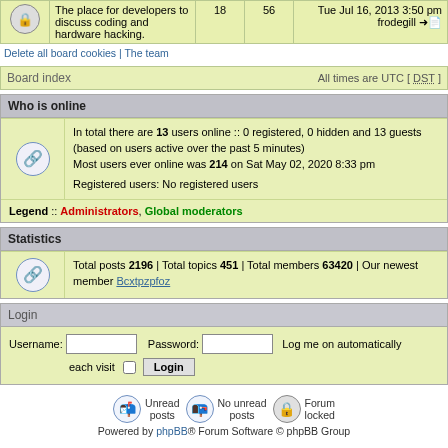|  | Description | Posts | Topics | Last post |
| --- | --- | --- | --- | --- |
| [lock] | The place for developers to discuss coding and hardware hacking. | 18 | 56 | Tue Jul 16, 2013 3:50 pm frodegill |
Delete all board cookies | The team
Board index   All times are UTC [ DST ]
Who is online
In total there are 13 users online :: 0 registered, 0 hidden and 13 guests (based on users active over the past 5 minutes)
Most users ever online was 214 on Sat May 02, 2020 8:33 pm
Registered users: No registered users
Legend :: Administrators, Global moderators
Statistics
Total posts 2196 | Total topics 451 | Total members 63420 | Our newest member Bcxtpzpfoz
Login
Username:   Password:   Log me on automatically each visit  [checkbox]  Login
Unread posts   No unread posts   Forum locked
Powered by phpBB® Forum Software © phpBB Group